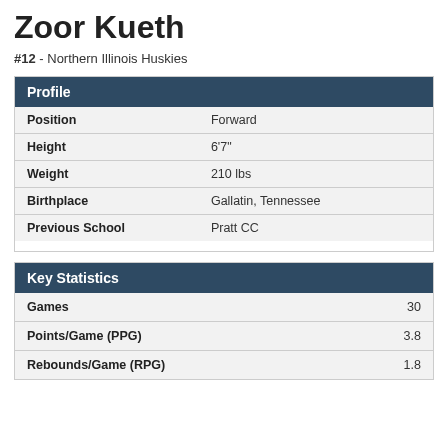Zoor Kueth
#12 - Northern Illinois Huskies
Profile
|  |  |
| --- | --- |
| Position | Forward |
| Height | 6'7" |
| Weight | 210 lbs |
| Birthplace | Gallatin, Tennessee |
| Previous School | Pratt CC |
Key Statistics
|  |  |
| --- | --- |
| Games | 30 |
| Points/Game (PPG) | 3.8 |
| Rebounds/Game (RPG) | 1.8 |